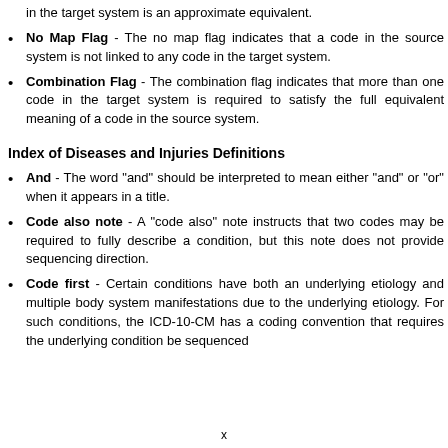in the target system is an approximate equivalent.
No Map Flag - The no map flag indicates that a code in the source system is not linked to any code in the target system.
Combination Flag - The combination flag indicates that more than one code in the target system is required to satisfy the full equivalent meaning of a code in the source system.
Index of Diseases and Injuries Definitions
And - The word "and" should be interpreted to mean either "and" or "or" when it appears in a title.
Code also note - A "code also" note instructs that two codes may be required to fully describe a condition, but this note does not provide sequencing direction.
Code first - Certain conditions have both an underlying etiology and multiple body system manifestations due to the underlying etiology. For such conditions, the ICD-10-CM has a coding convention that requires the underlying condition be sequenced
x